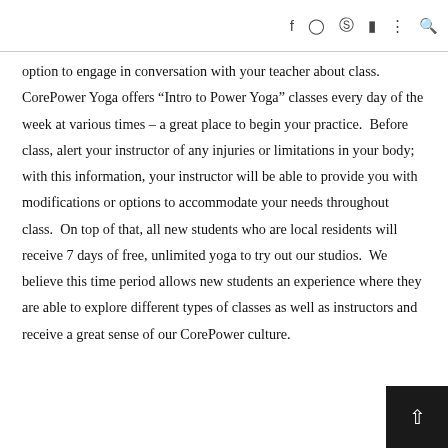social media icons: f (Facebook), Instagram, Pinterest, YouTube, more, search
option to engage in conversation with your teacher about class.  CorePower Yoga offers “Intro to Power Yoga” classes every day of the week at various times – a great place to begin your practice.  Before class, alert your instructor of any injuries or limitations in your body; with this information, your instructor will be able to provide you with modifications or options to accommodate your needs throughout class.  On top of that, all new students who are local residents will receive 7 days of free, unlimited yoga to try out our studios.  We believe this time period allows new students an experience where they are able to explore different types of classes as well as instructors and receive a great sense of our CorePower culture.